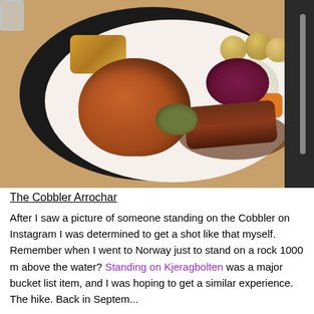[Figure (photo): A plate of food on a wooden table showing a roast dinner with Yorkshire pudding, stuffing, sliced meat with gravy, red cabbage, roasted potatoes, cauliflower with cream sauce, and carrots. A fork and dark napkin are visible on the right side of the plate.]
The Cobbler Arrochar
After I saw a picture of someone standing on the Cobbler on Instagram I was determined to get a shot like that myself. Remember when I went to Norway just to stand on a rock 1000 m above the water? Standing on Kjeragbolten was a major bucket list item, and I was hoping to get a similar experience. The hike. Back in September, the year before, the week. This is